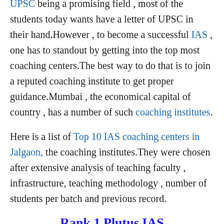UPSC being a promising field , most of the students today wants have a letter of UPSC in their hand.However , to become a successful IAS , one has to standout by getting into the top most coaching centers.The best way to do that is to join a reputed coaching institute to get proper guidance.Mumbai , the economical capital of country , has a number of such coaching institutes.

Here is a list of Top 10 IAS coaching centers in Jalgaon, the coaching institutes.They were chosen after extensive analysis of teaching faculty , infrastructure, teaching methodology , number of students per batch and previous record.
Rank 1 Plutus IAS